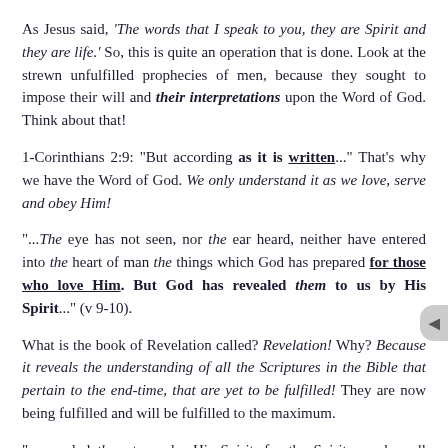As Jesus said, 'The words that I speak to you, they are Spirit and they are life.' So, this is quite an operation that is done. Look at the strewn unfulfilled prophecies of men, because they sought to impose their will and their interpretations upon the Word of God. Think about that!
1-Corinthians 2:9: "But according as it is written..." That's why we have the Word of God. We only understand it as we love, serve and obey Him!
'...'The eye has not seen, nor the ear heard, neither have entered into the heart of man the things which God has prepared for those who love Him.' But God has revealed them to us by His Spirit..." (v 9-10).
What is the book of Revelation called? Revelation! Why? Because it reveals the understanding of all the Scriptures in the Bible that pertain to the end-time, that are yet to be fulfilled! They are now being fulfilled and will be fulfilled to the maximum.
"...revealed them to us by His Spirit, for the Spirit searches all things—even the deep things of God" (v 10).
Are not the prophecies the deep things of God? Yes, indeed! Some very complex, some very hard to understand. Only the Truth of God and the Spirit of God, can give us the proper understanding of it.